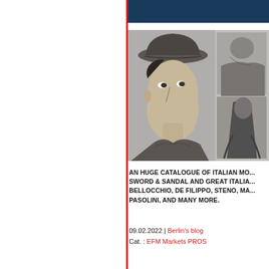[Figure (photo): Black and white photo collage: large portrait of a young man in a flat cap looking sideways, with two smaller photos on the right showing people in dramatic poses]
AN HUGE CATALOGUE OF ITALIAN MO... SWORD & SANDAL AND GREAT ITALIA... BELLOCCHIO, DE FILIPPO, STENO, MA... PASOLINI, AND MANY MORE.
09.02.2022 | Berlin's blog
Cat. : EFM Markets PROS